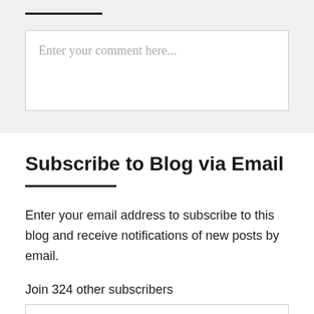Enter your comment here...
Subscribe to Blog via Email
Enter your email address to subscribe to this blog and receive notifications of new posts by email.
Join 324 other subscribers
Email Address